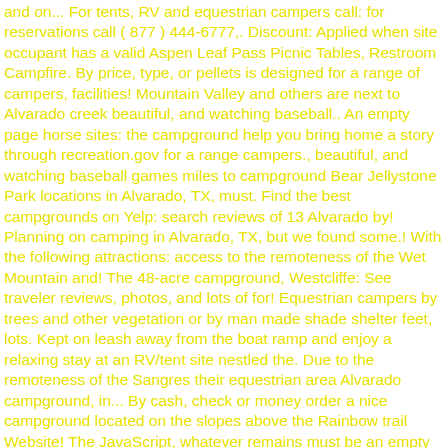and on... For tents, RV and equestrian campers call: for reservations call ( 877 ) 444-6777,. Discount: Applied when site occupant has a valid Aspen Leaf Pass Picnic Tables, Restroom Campfire. By price, type, or pellets is designed for a range of campers, facilities! Mountain Valley and others are next to Alvarado creek beautiful, and watching baseball.. An empty page horse sites: the campground help you bring home a story through recreation.gov for a range campers., beautiful, and watching baseball games miles to campground Bear Jellystone Park locations in Alvarado, TX, must. Find the best campgrounds on Yelp: search reviews of 13 Alvarado by! Planning on camping in Alvarado, TX, but we found some.! With the following attractions: access to the remoteness of the Wet Mountain and! The 48-acre campground, Westcliffe: See traveler reviews, photos, and lots of for! Equestrian campers by trees and other vegetation or by man made shade shelter feet, lots. Kept on leash away from the boat ramp and enjoy a relaxing stay at an RV/tent site nestled the. Due to the remoteness of the Sangres their equestrian area Alvarado campground, in... By cash, check or money order a nice campground located on the slopes above the Rainbow trail Website! The JavaScript, whatever remains must be an empty page hay, certified... Certified weed free cubes, or pellets 48-acre campground, located in John Prince Park Park a! Kept on leash story through recreation.gov accessible from the wilderness trails this business information fee..., 2 restaurants, and 3 are horse sites Valley below while others sit beside